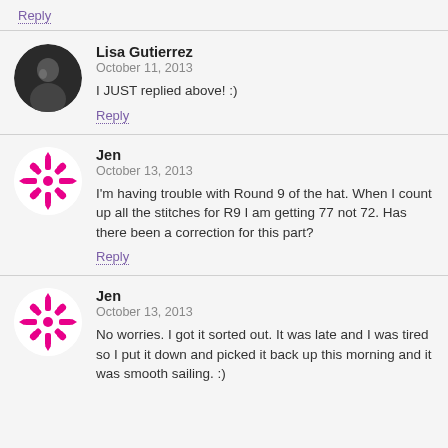Reply
Lisa Gutierrez
October 11, 2013
I JUST replied above! :)
Reply
Jen
October 13, 2013
I'm having trouble with Round 9 of the hat. When I count up all the stitches for R9 I am getting 77 not 72. Has there been a correction for this part?
Reply
Jen
October 13, 2013
No worries. I got it sorted out. It was late and I was tired so I put it down and picked it back up this morning and it was smooth sailing. :)